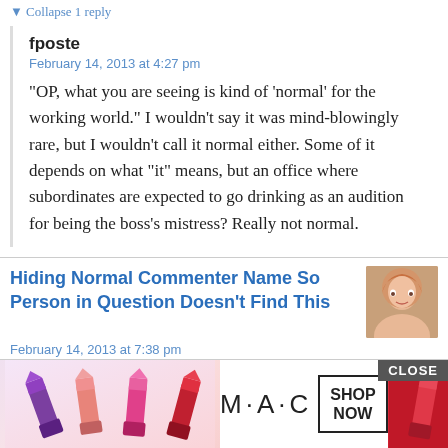▼ Collapse 1 reply
fposte
February 14, 2013 at 4:27 pm
“OP, what you are seeing is kind of ‘normal’ for the working world.” I wouldn’t say it was mind-blowingly rare, but I wouldn’t call it normal either. Some of it depends on what “it” means, but an office where subordinates are expected to go drinking as an audition for being the boss’s mistress? Really not normal.
Hiding Normal Commenter Name So Person in Question Doesn't Find This
February 14, 2013 at 7:38 pm
He is very insistent and it’s very difficult to say no….
Arrggh
[Figure (other): MAC cosmetics advertisement showing lipsticks, MAC logo, and SHOP NOW button with CLOSE button overlay]